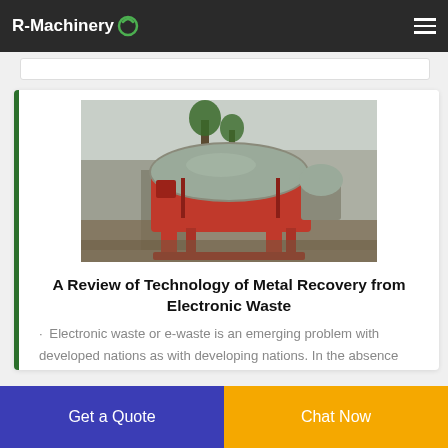R-Machinery
[Figure (photo): Industrial metal shredder / crusher machine — red metal body with grey dome-shaped cover, mounted on red frame legs, photographed outdoors in a factory yard]
A Review of Technology of Metal Recovery from Electronic Waste
Electronic waste or e-waste is an emerging problem with developed nations as with developing nations. In the absence